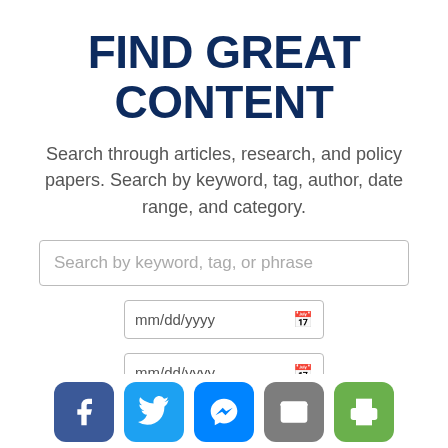FIND GREAT CONTENT
Search through articles, research, and policy papers. Search by keyword, tag, author, date range, and category.
[Figure (screenshot): Search input box with placeholder text 'Search by keyword, tag, or phrase']
[Figure (screenshot): Date input field showing mm/dd/yyyy with calendar icon]
[Figure (screenshot): Second date input field showing mm/dd/yyyy with calendar icon]
[Figure (infographic): Social sharing buttons row: Facebook, Twitter, Messenger, Email, Print]